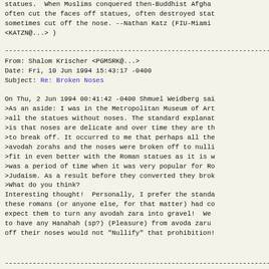statues.  When Muslims conquered then-Buddhist Afgha
often cut the faces off statues, often destroyed sta
sometimes cut off the nose. --Nathan Katz (FIU-Miami
<KATZN@...> )
------------------------------------------------------------------------
From: Shalom Krischer <PGMSRK@...>
Date: Fri, 10 Jun 1994 15:43:17 -0400
Subject: Re: Broken Noses
On Thu, 2 Jun 1994 00:41:42 -0400 Shmuel Weidberg sai
>As an aside: I was in the Metropolitan Museum of Art
>all the statues without noses. The standard explanat
>is that noses are delicate and over time they are th
>to break off. It occurred to me that perhaps all the
>avodah zorahs and the noses were broken off to nulli
>fit in even better with the Roman statues as it is w
>was a period of time when it was very popular for Ro
>Judaism. As a result before they converted they brok
>What do you think?
Interesting thought!  Personally, I prefer the standa
these romans (or anyone else, for that matter) had co
expect them to turn any avodah zara into gravel!  We
to have any Hanahah (sp?) (Pleasure) from avoda zaru
off their noses would not "Nullify" that prohibition!
------------------------------------------------------------------------